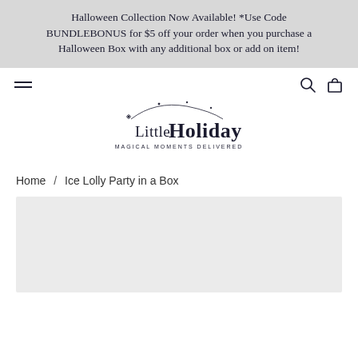Halloween Collection Now Available! *Use Code BUNDLEBONUS for $5 off your order when you purchase a Halloween Box with any additional box or add on item!
[Figure (logo): Little Holiday logo with text 'Little Holiday MAGICAL MOMENTS DELIVERED' and decorative star/sparkle arc above]
Home / Ice Lolly Party in a Box
[Figure (photo): Product image placeholder area (light gray box) for Ice Lolly Party in a Box product]